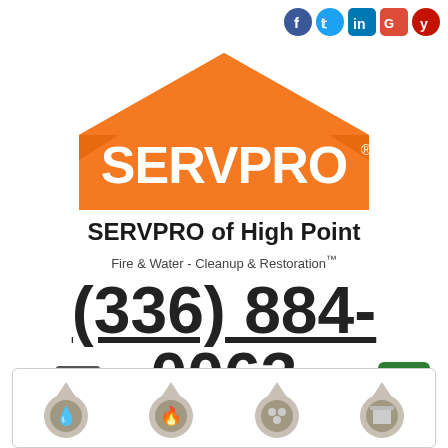[Figure (logo): Social media icons: Facebook, Twitter, LinkedIn, Google+, Yelp in top right corner]
[Figure (logo): SERVPRO logo: orange house/roof shape with SERVPRO text in white]
SERVPRO of High Point
Fire & Water - Cleanup & Restoration™
(336) 884-0063
[Figure (infographic): Computer monitor icon with green screen, REQUEST HELP ONLINE text in orange/black, and green hamburger menu button]
[Figure (infographic): Bottom strip with four circular service icons: water drop, fire/flame, mold/spores, and commercial building]